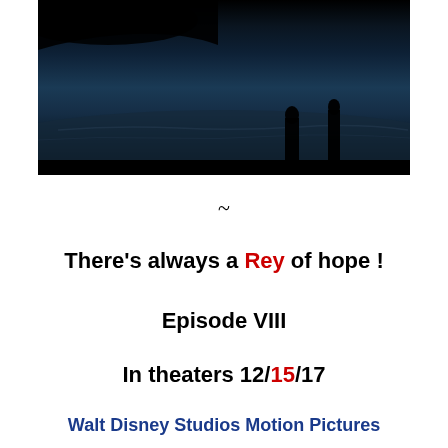[Figure (photo): Dark cinematic movie still showing silhouettes of two figures standing on a rocky/icy surface against a dark blue-grey background]
~
There’s always a Rey of hope !
Episode VIII
In theaters 12/15/17
Walt Disney Studios Motion Pictures